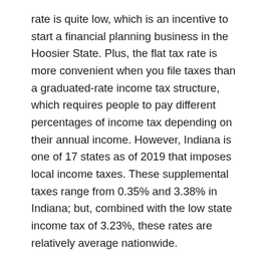rate is quite low, which is an incentive to start a financial planning business in the Hoosier State. Plus, the flat tax rate is more convenient when you file taxes than a graduated-rate income tax structure, which requires people to pay different percentages of income tax depending on their annual income. However, Indiana is one of 17 states as of 2019 that imposes local income taxes. These supplemental taxes range from 0.35% and 3.38% in Indiana; but, combined with the low state income tax of 3.23%, these rates are relatively average nationwide.
New financial planners in Indiana must also consider how they plan to provide their services. Most financial planners opt for one of two business structures. Some people charge a set fee for their work, which clients will pay regardless of what happens while you're managing